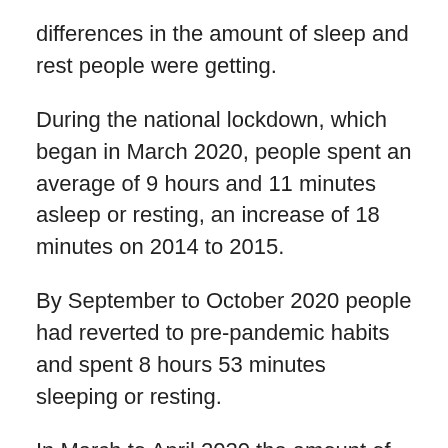differences in the amount of sleep and rest people were getting.
During the national lockdown, which began in March 2020, people spent an average of 9 hours and 11 minutes asleep or resting, an increase of 18 minutes on 2014 to 2015.
By September to October 2020 people had reverted to pre-pandemic habits and spent 8 hours 53 minutes sleeping or resting.
In March to April 2020 the amount of time on any average day that people put into gardening and DIY had increased by 143%, from 16 minutes in 2014 to